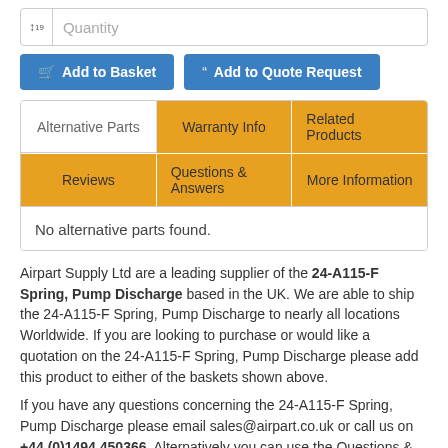[Figure (screenshot): Quantity input field with sort icon and placeholder text]
[Figure (screenshot): Two blue buttons: Add to Basket and Add to Quote Request]
[Figure (screenshot): Tab navigation with Alternative Parts (white/active), Warranty Info, Related Products, Reviews, Questions & Answers, More Information tabs in orange]
No alternative parts found.
Airpart Supply Ltd are a leading supplier of the 24-A115-F Spring, Pump Discharge based in the UK. We are able to ship the 24-A115-F Spring, Pump Discharge to nearly all locations Worldwide. If you are looking to purchase or would like a quotation on the 24-A115-F Spring, Pump Discharge please add this product to either of the baskets shown above.
If you have any questions concerning the 24-A115-F Spring, Pump Discharge please email sales@airpart.co.uk or call us on +44 (0)1494 450366. Alternatively you can use the Questions & Answers